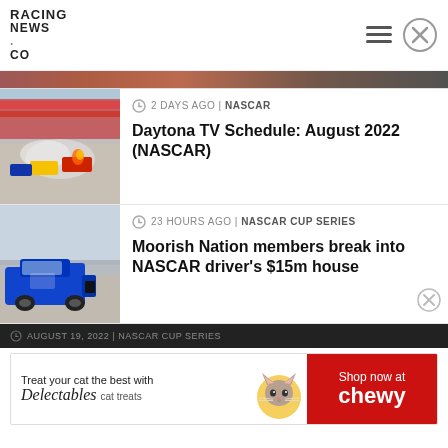RACING NEWS.CO
[Figure (screenshot): Partial strip showing top of a racing thumbnail image]
[Figure (photo): NASCAR race cars crash with smoke on track]
2 DAYS AGO | NASCAR
Daytona TV Schedule: August 2022 (NASCAR)
[Figure (photo): Blue NASCAR stock car on track]
23 HOURS AGO | NASCAR CUP SERIES
Moorish Nation members break into NASCAR driver's $15m house
AUGUST 19, 2022 | NASCAR CUP SERIES
[Figure (infographic): Advertisement: Treat your cat the best with Delectables cat treats — Shop now at Chewy]